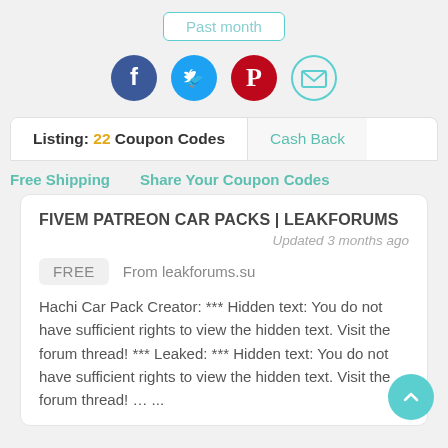Past month
[Figure (illustration): Four social media share icons in circles: Facebook (dark blue), Twitter (light blue), Pinterest (dark red), Email (light blue outline)]
Listing: 22 Coupon Codes
Cash Back
Free Shipping
Share Your Coupon Codes
FIVEM PATREON CAR PACKS | LEAKFORUMS
Updated 3 months ago
FREE   From leakforums.su
Hachi Car Pack Creator: *** Hidden text: You do not have sufficient rights to view the hidden text. Visit the forum thread! *** Leaked: *** Hidden text: You do not have sufficient rights to view the hidden text. Visit the forum thread! … ...